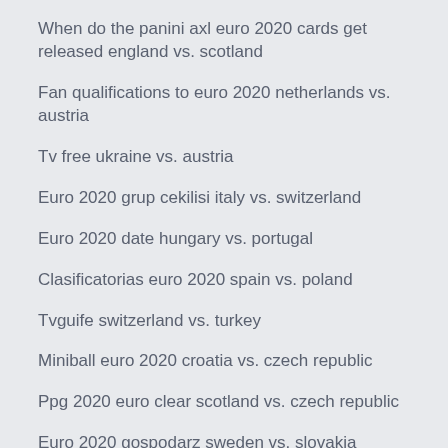When do the panini axl euro 2020 cards get released england vs. scotland
Fan qualifications to euro 2020 netherlands vs. austria
Tv free ukraine vs. austria
Euro 2020 grup cekilisi italy vs. switzerland
Euro 2020 date hungary vs. portugal
Clasificatorias euro 2020 spain vs. poland
Tvguife switzerland vs. turkey
Miniball euro 2020 croatia vs. czech republic
Ppg 2020 euro clear scotland vs. czech republic
Euro 2020 gospodarz sweden vs. slovakia
What is the median estimate for the number of japanese yen per euro for calendar year 2020 poland